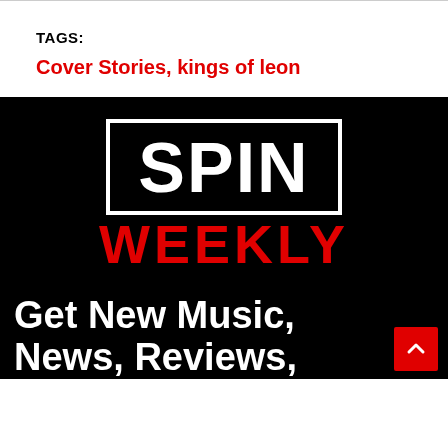TAGS:
Cover Stories, kings of leon
[Figure (logo): SPIN WEEKLY logo — white text 'SPIN' in a black rectangle with white border, red bold 'WEEKLY' below on black background]
Get New Music, News, Reviews.